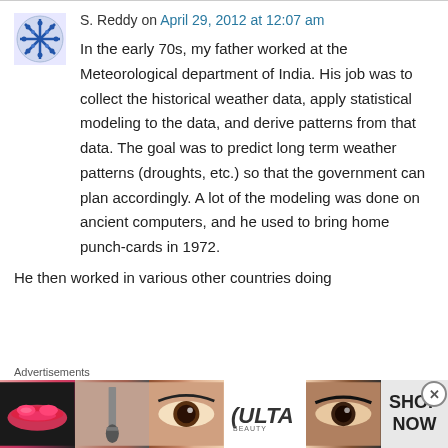S. Reddy on April 29, 2012 at 12:07 am
In the early 70s, my father worked at the Meteorological department of India. His job was to collect the historical weather data, apply statistical modeling to the data, and derive patterns from that data. The goal was to predict long term weather patterns (droughts, etc.) so that the government can plan accordingly. A lot of the modeling was done on ancient computers, and he used to bring home punch-cards in 1972.
He then worked in various other countries doing
Advertisements